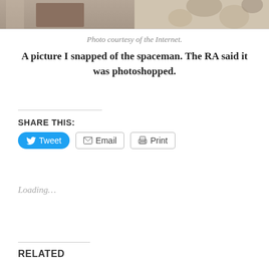[Figure (photo): Top portion of a photo showing a bedroom scene with wooden furniture and a patterned cushion/pillow on the right side.]
Photo courtesy of the Internet.
A picture I snapped of the spaceman. The RA said it was photoshopped.
SHARE THIS:
Tweet  Email  Print
Loading...
RELATED